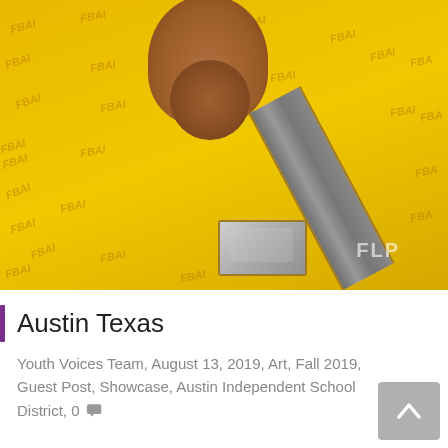[Figure (photo): Close-up photo of a yellow patterned fabric (with repeated text/logo print) and a brown leather belt with a silver metal buckle and gray woven strap. A partial watermark reading 'FLP' is visible in the lower right of the photo.]
Austin Texas
Youth Voices Team, August 13, 2019, Art, Fall 2019, Guest Post, Showcase, Austin Independent School District, 0